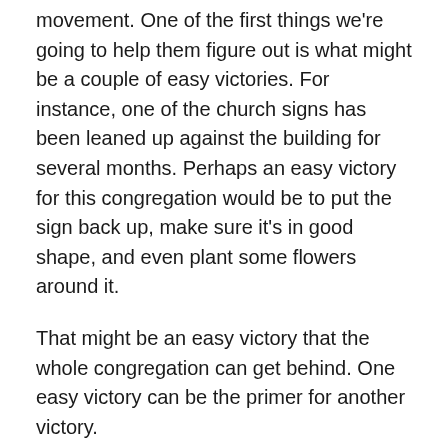movement. One of the first things we're going to help them figure out is what might be a couple of easy victories. For instance, one of the church signs has been leaned up against the building for several months. Perhaps an easy victory for this congregation would be to put the sign back up, make sure it's in good shape, and even plant some flowers around it.
That might be an easy victory that the whole congregation can get behind. One easy victory can be the primer for another victory.
Most congregations need easy victories that can be applauded by all. Let me emphasize the “by all” part! There is a danger in many churches of a “victorious superiority” to surface as a result of one ministry/program having success. However, when a whole congregation